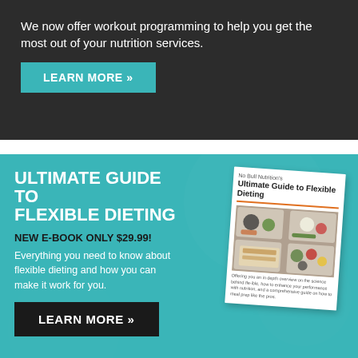We now offer workout programming to help you get the most out of your nutrition services.
LEARN MORE »
ULTIMATE GUIDE TO FLEXIBLE DIETING
NEW E-BOOK ONLY $29.99!
Everything you need to know about flexible dieting and how you can make it work for you.
[Figure (illustration): Book cover mockup for 'Ultimate Guide to Flexible Dieting' e-book showing meal prep containers with various foods]
LEARN MORE »